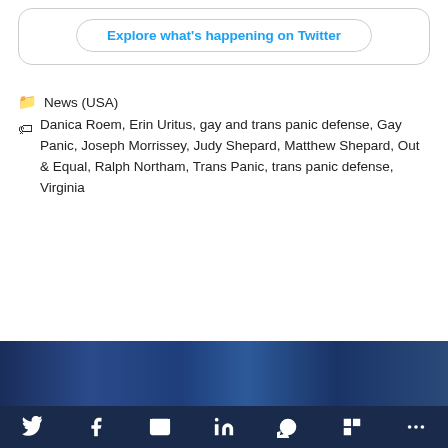[Figure (screenshot): Twitter embed box with 'Explore what's happening on Twitter' button]
News (USA)
Danica Roem, Erin Uritus, gay and trans panic defense, Gay Panic, Joseph Morrissey, Judy Shepard, Matthew Shepard, Out & Equal, Ralph Northam, Trans Panic, trans panic defense, Virginia
[Figure (photo): Dark blue photo strip showing people at an event]
[Figure (infographic): Social share bar with Twitter, Facebook, Email, LinkedIn, WhatsApp, Flipboard, and More icons]